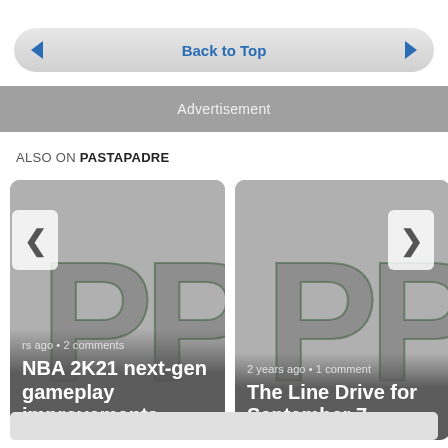Back to Top
Advertisement
ALSO ON PASTAPADRE
[Figure (screenshot): Card thumbnail with PP logo background showing '...rs ago • 2 comments' and title 'NBA 2K21 next-gen gameplay improvements']
[Figure (screenshot): Card thumbnail with PP logo background showing '2 years ago • 1 comment' and title 'The Line Drive for September 7']
[Figure (screenshot): Partially visible third card thumbnail]